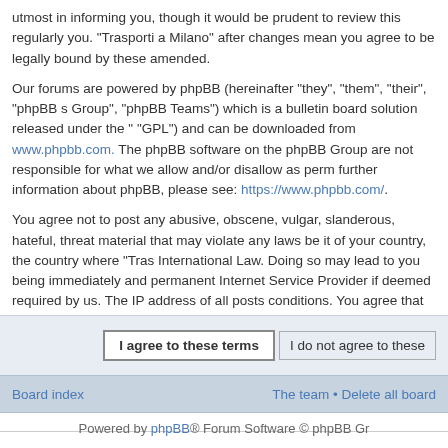utmost in informing you, though it would be prudent to review this regularly you. "Trasporti a Milano" after changes mean you agree to be legally bound by these amended.
Our forums are powered by phpBB (hereinafter "they", "them", "their", "phpBB s Group", "phpBB Teams") which is a bulletin board solution released under the "GPL") and can be downloaded from www.phpbb.com. The phpBB software on the phpBB Group are not responsible for what we allow and/or disallow as perm further information about phpBB, please see: https://www.phpbb.com/.
You agree not to post any abusive, obscene, vulgar, slanderous, hateful, threat material that may violate any laws be it of your country, the country where "Tras International Law. Doing so may lead to you being immediately and permanent Internet Service Provider if deemed required by us. The IP address of all posts conditions. You agree that "Trasporti a Milano" have the right to remove, edit, m should we see fit. As a user you agree to any information you have entered to b information will not be disclosed to any third party without your consent, neither be held responsible for any hacking attempt that may lead to the data being co
I agree to these terms    I do not agree to these
Board index    The team • Delete all board
Powered by phpBB® Forum Software © phpBB Gr